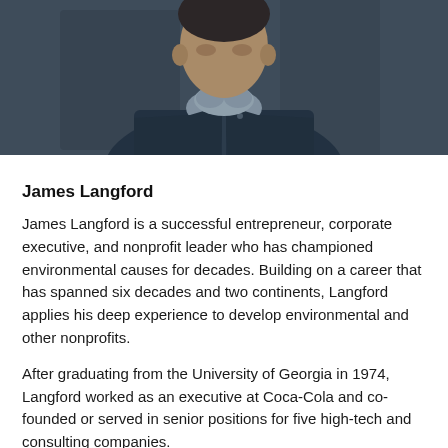[Figure (photo): Portrait photograph of James Langford wearing a dark navy jacket with grey scarf/collar, photographed outdoors with a blurred background.]
James Langford
James Langford is a successful entrepreneur, corporate executive, and nonprofit leader who has championed environmental causes for decades. Building on a career that has spanned six decades and two continents, Langford applies his deep experience to develop environmental and other nonprofits.
After graduating from the University of Georgia in 1974, Langford worked as an executive at Coca-Cola and co-founded or served in senior positions for five high-tech and consulting companies.